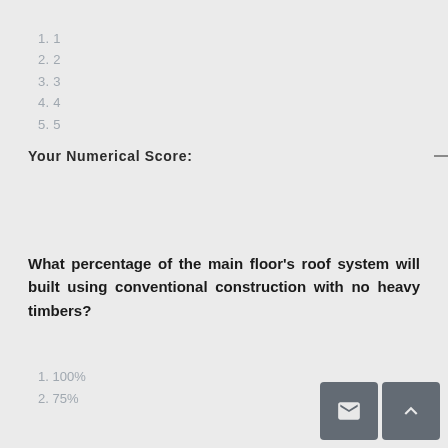1. 1
2. 2
3. 3
4. 4
5. 5
Your Numerical Score:  ___
What percentage of the main floor's roof system will built using conventional construction with no heavy timbers?
1. 100%
2. 75%